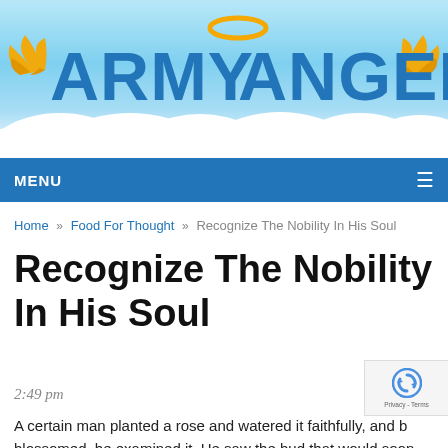[Figure (logo): ArmyAngel website header banner with blue sky background, white clouds at bottom, golden angel wings on each side of the logo text, and a golden halo above the letter A in ANGEL. Logo text reads ARMYANGEL in large blue letters.]
MENU
Home » Food For Thought » Recognize The Nobility In His Soul
Recognize The Nobility In His Soul
2:49 pm
A certain man planted a rose and watered it faithfully, and b blossomed, he examined it. He saw the bud that would soon blossom